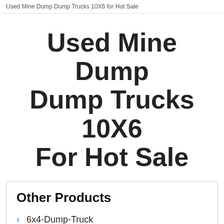Used Mine Dump Dump Trucks 10X6 for Hot Sale
Used Mine Dump Dump Trucks 10X6 For Hot Sale
Other Products
6x4-Dump-Truck
8x4-Dump-Truck